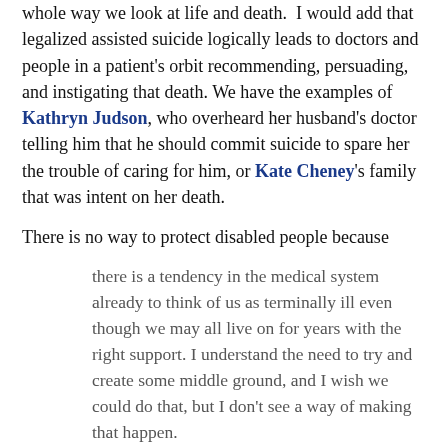whole way we look at life and death. I would add that legalized assisted suicide logically leads to doctors and people in a patient's orbit recommending, persuading, and instigating that death. We have the examples of Kathryn Judson, who overheard her husband's doctor telling him that he should commit suicide to spare her the trouble of caring for him, or Kate Cheney's family that was intent on her death.
There is no way to protect disabled people because
there is a tendency in the medical system already to think of us as terminally ill even though we may all live on for years with the right support. I understand the need to try and create some middle ground, and I wish we could do that, but I don't see a way of making that happen.
It's long been known that doctors and medical personnel underestimate the “quality of life” experienced by disabled people, who love our lives as much as nondisabled people.
Voket asks whether the legislation has gone terribly wrong in